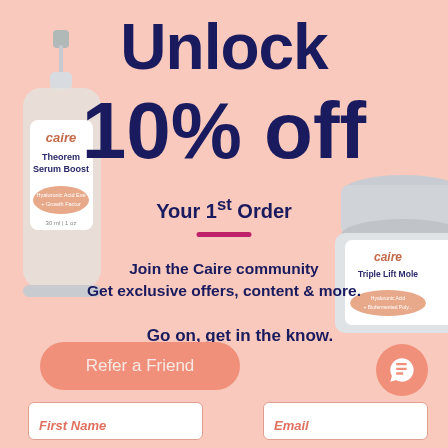Unlock
10% off
Your 1st Order
Join the Caire community
Get exclusive offers, content & more.
Go on, get in the know.
[Figure (photo): Caire Theorem Serum Boost dropper bottle on left side]
[Figure (photo): Caire Triple Lift Mole cream jar on right side]
Refer a Friend
First Name
Email